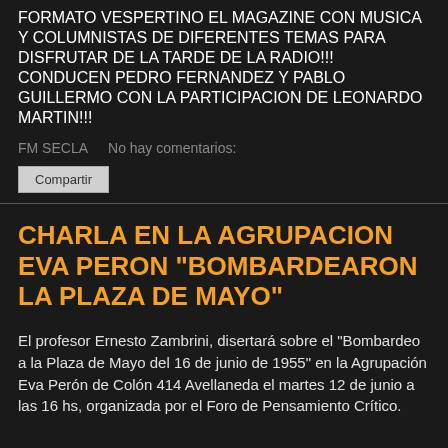FORMATO VESPERTINO EL MAGAZINE CON MUSICA Y COLUMNISTAS DE DIFERENTES TEMAS PARA DISFRUTAR DE LA TARDE DE LA RADIO!!! CONDUCEN PEDRO FERNANDEZ Y PABLO GUILLERMO CON LA PARTICIPACION DE LEONARDO MARTIN!!!
FM SECLA   No hay comentarios:
Compartir
CHARLA EN LA AGRUPACION EVA PERON "BOMBARDEARON LA PLAZA DE MAYO"
El profesor Ernesto Zambrini, disertará sobre el "Bombardeo a la Plaza de Mayo del 16 de junio de 1955" en la Agrupación Eva Perón de Colón 414 Avellaneda el martes 12 de junio a las 16 hs, organizada por el Foro de Pensamiento Crítico.